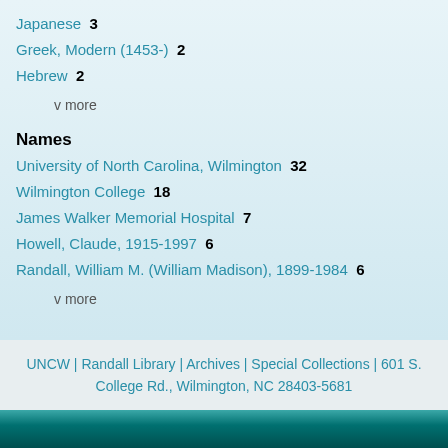Japanese  3
Greek, Modern (1453-)  2
Hebrew  2
v more
Names
University of North Carolina, Wilmington  32
Wilmington College  18
James Walker Memorial Hospital  7
Howell, Claude, 1915-1997  6
Randall, William M. (William Madison), 1899-1984  6
v more
UNCW | Randall Library | Archives | Special Collections | 601 S. College Rd., Wilmington, NC 28403-5681